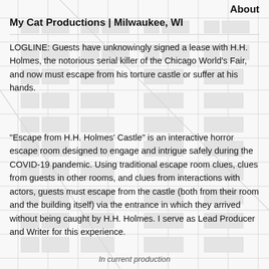About
My Cat Productions | Milwaukee, WI
LOGLINE: Guests have unknowingly signed a lease with H.H. Holmes, the notorious serial killer of the Chicago World's Fair, and now must escape from his torture castle or suffer at his hands.
“Escape from H.H. Holmes’ Castle” is an interactive horror escape room designed to engage and intrigue safely during the COVID-19 pandemic. Using traditional escape room clues, clues from guests in other rooms, and clues from interactions with actors, guests must escape from the castle (both from their room and the building itself) via the entrance in which they arrived without being caught by H.H. Holmes. I serve as Lead Producer and Writer for this experience.
In current production